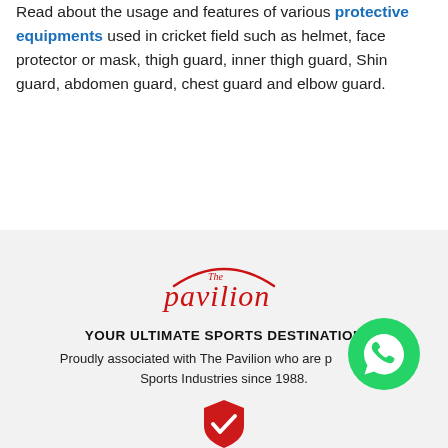Read about the usage and features of various protective equipments used in cricket field such as helmet, face protector or mask, thigh guard, inner thigh guard, Shin guard, abdomen guard, chest guard and elbow guard.
[Figure (logo): The Pavilion sports store logo in red cursive script with an arc above]
YOUR ULTIMATE SPORTS DESTINATION
Proudly associated with The Pavilion who are pioneers in Sports Industries since 1988.
[Figure (logo): Red shield with white checkmark icon]
[Figure (logo): WhatsApp green circle icon with phone handset]